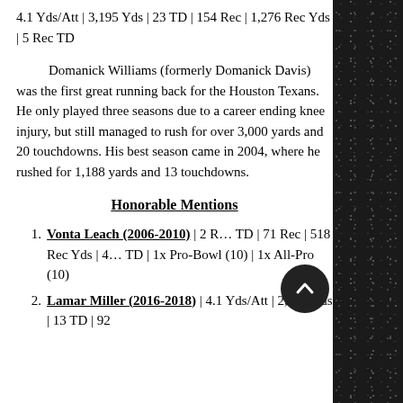4.1 Yds/Att | 3,195 Yds | 23 TD | 154 Rec | 1,276 Rec Yds | 5 Rec TD
Domanick Williams (formerly Domanick Davis) was the first great running back for the Houston Texans. He only played three seasons due to a career ending knee injury, but still managed to rush for over 3,000 yards and 20 touchdowns. His best season came in 2004, where he rushed for 1,188 yards and 13 touchdowns.
Honorable Mentions
Vonta Leach (2006-2010) | 2 ... TD | 71 Rec | 518 Rec Yds | 4... TD | 1x Pro-Bowl (10) | 1x All-Pro (10)
Lamar Miller (2016-2018) | 4.1 Yds/Att | 2,934 Yds | 13 TD | 92...